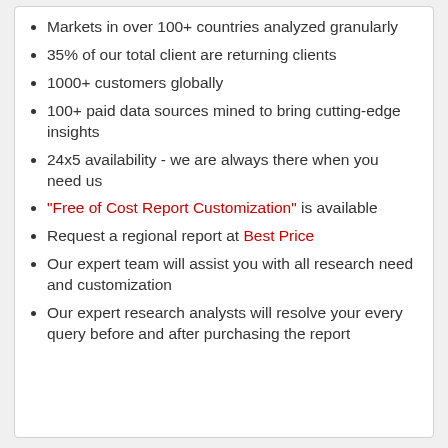Markets in over 100+ countries analyzed granularly
35% of our total client are returning clients
1000+ customers globally
100+ paid data sources mined to bring cutting-edge insights
24x5 availability - we are always there when you need us
"Free of Cost Report Customization" is available
Request a regional report at Best Price
Our expert team will assist you with all research need and customization
Our expert research analysts will resolve your every every query before and after purchasing the report